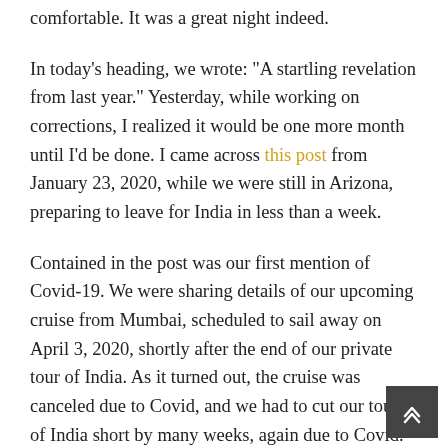comfortable. It was a great night indeed.
In today's heading, we wrote: "A startling revelation from last year." Yesterday, while working on corrections, I realized it would be one more month until I'd be done. I came across this post from January 23, 2020, while we were still in Arizona, preparing to leave for India in less than a week.
Contained in the post was our first mention of Covid-19. We were sharing details of our upcoming cruise from Mumbai, scheduled to sail away on April 3, 2020, shortly after the end of our private tour of India. As it turned out, the cruise was canceled due to Covid, and we had to cut our tour of India short by many weeks, again due to Covid. It was on March 24 that our 10-month isolation in lockdown began at the Marriott Hotel in Mumbai. Wow! That seems like a long time